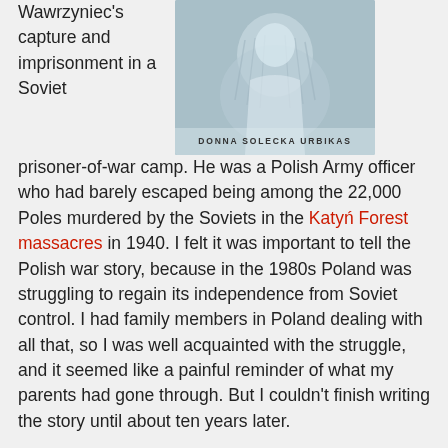[Figure (illustration): Book cover showing a person, with author name 'DONNA SOLECKA URBIKAS' at the bottom]
Wawrzyniec's capture and imprisonment in a Soviet prisoner-of-war camp. He was a Polish Army officer who had barely escaped being among the 22,000 Poles murdered by the Soviets in the Katyń Forest massacres in 1940. I felt it was important to tell the Polish war story, because in the 1980s Poland was struggling to regain its independence from Soviet control. I had family members in Poland dealing with all that, so I was well acquainted with the struggle, and it seemed like a painful reminder of what my parents had gone through. But I couldn't finish writing the story until about ten years later.
How much older is your sister?
Mira was five years old when she was deported with my mother in 1940. I was born several years after